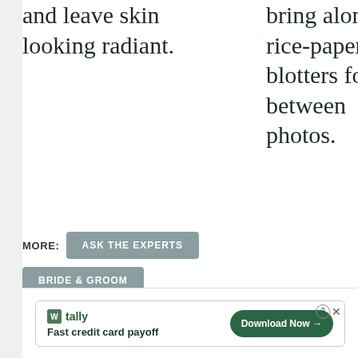and leave skin looking radiant.
bring along rice-paper blotters for between photos.
MORE:
ASK THE EXPERTS
BRIDE & GROOM
WEDDING HAIR AND BEAUTY
[Figure (other): Advertisement for Tally app: 'Fast credit card payoff' with a Download Now button]